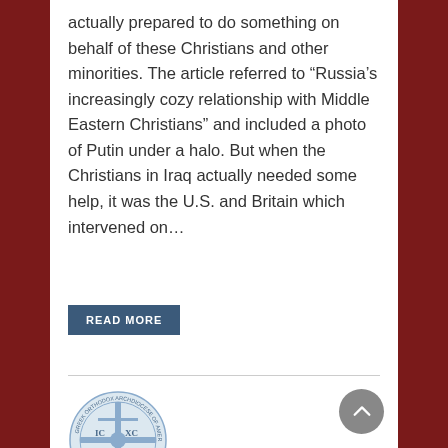actually prepared to do something on behalf of these Christians and other minorities. The article referred to “Russia’s increasingly cozy relationship with Middle Eastern Christians” and included a photo of Putin under a halo. But when the Christians in Iraq actually needed some help, it was the U.S. and Britain which intervened on...
READ MORE
[Figure (logo): Greek Orthodox Archdiocese of America circular seal/logo with a cross in the center, IC XC on top, NI KA on bottom, text around the border]